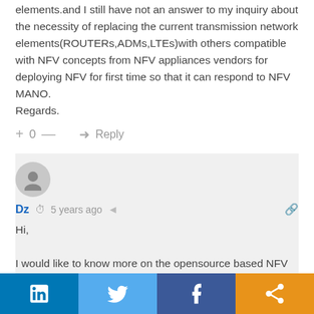elements.and I still have not an answer to my inquiry about the necessity of replacing the current transmission network elements(ROUTERs,ADMs,LTEs)with others compatible with NFV concepts from NFV appliances vendors for deploying NFV for first time so that it can respond to NFV MANO. Regards.
+ 0 — → Reply
[Figure (illustration): Gray circular avatar icon with a person silhouette]
Dz  clock 5 years ago  share  link
Hi,

I would like to know more on the opensource based NFV testing tools and bench-marking. Couldn't find proper guideline of NFV adoption and deployment. Perhaps you could guide and provide some references.
[Figure (infographic): Social share footer bar with LinkedIn, Twitter, Facebook, and share buttons]